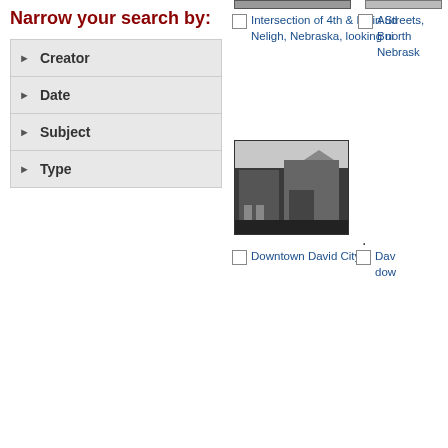Narrow your search by:
Creator
Date
Subject
Type
[Figure (photo): Black and white historical photo of downtown building, partial view at top]
Intersection of 4th & Main Streets, Neligh, Nebraska, looking north
Auditorium Building, Nebraska (partial)
[Figure (photo): Black and white historical photo of downtown David City, Nebraska showing brick buildings]
Downtown David City
David City downtown (partial)